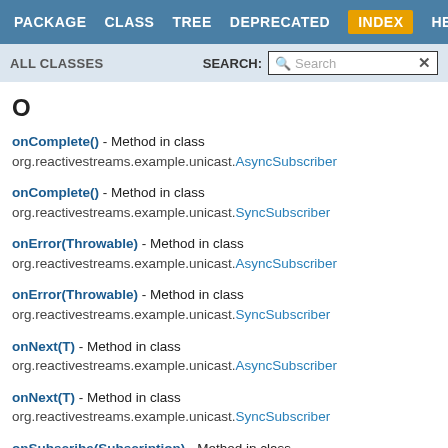PACKAGE  CLASS  TREE  DEPRECATED  INDEX  HELP
ALL CLASSES   SEARCH: Search
O
onComplete() - Method in class org.reactivestreams.example.unicast.AsyncSubscriber
onComplete() - Method in class org.reactivestreams.example.unicast.SyncSubscriber
onError(Throwable) - Method in class org.reactivestreams.example.unicast.AsyncSubscriber
onError(Throwable) - Method in class org.reactivestreams.example.unicast.SyncSubscriber
onNext(T) - Method in class org.reactivestreams.example.unicast.AsyncSubscriber
onNext(T) - Method in class org.reactivestreams.example.unicast.SyncSubscriber
onSubscribe(Subscription) - Method in class org.reactivestreams.example.unicast.AsyncSubscriber
onSubscribe(Subscription) - Method in class ...